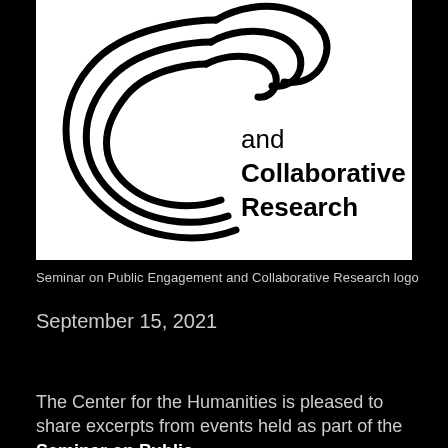[Figure (logo): Seminar on Public Engagement and Collaborative Research logo — concentric curved lines forming a stylized C/swirl shape with text 'and Collaborative Research' to the right]
Seminar on Public Engagement and Collaborative Research logo
September 15, 2021
The Center for the Humanities is pleased to share excerpts from events held as part of the Seminar on Public